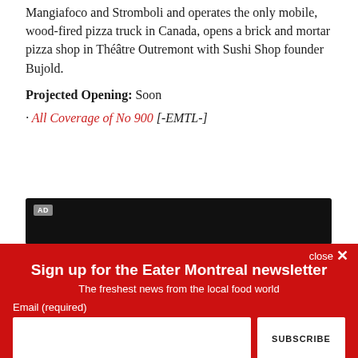Mangiafoco and Stromboli and operates the only mobile, wood-fired pizza truck in Canada, opens a brick and mortar pizza shop in Théâtre Outremont with Sushi Shop founder Bujold.
Projected Opening: Soon
· All Coverage of No 900 [-EMTL-]
[Figure (screenshot): Black advertisement bar with AD badge label]
close ×
Sign up for the Eater Montreal newsletter
The freshest news from the local food world
Email (required)
SUBSCRIBE
By submitting your email, you agree to our Terms and Privacy Notice. You can opt out at any time. This site is protected by reCAPTCHA and the Google Privacy Policy and Terms of Service apply.